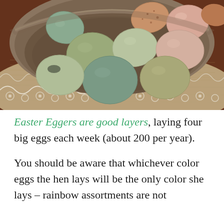[Figure (photo): Overhead view of a rustic wooden bowl filled with various colored eggs (blue-green, speckled brown, pink, and olive-toned) sitting on a lace-trimmed burlap cloth on a dark wooden surface.]
Easter Eggers are good layers, laying four big eggs each week (about 200 per year).
You should be aware that whichever color eggs the hen lays will be the only color she lays – rainbow assortments are not